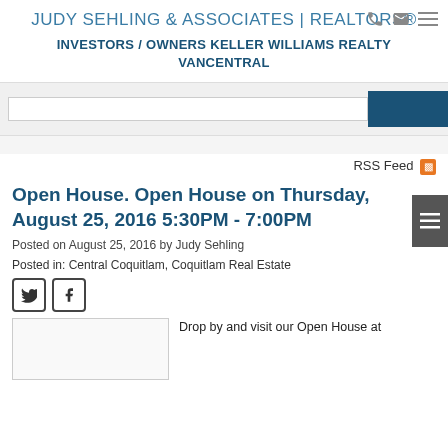JUDY SEHLING & ASSOCIATES | REALTORS®
INVESTORS / OWNERS KELLER WILLIAMS REALTY VANCENTRAL
Open House. Open House on Thursday, August 25, 2016 5:30PM - 7:00PM
Posted on August 25, 2016 by Judy Sehling
Posted in: Central Coquitlam, Coquitlam Real Estate
Drop by and visit our Open House at